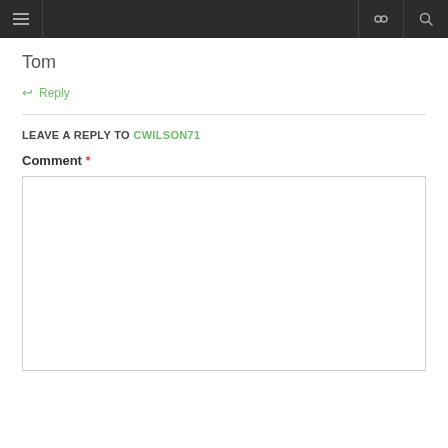navigation header with hamburger menu, link icon, and search icon
Tom
↩ Reply
LEAVE A REPLY TO CWILSON71
Comment *